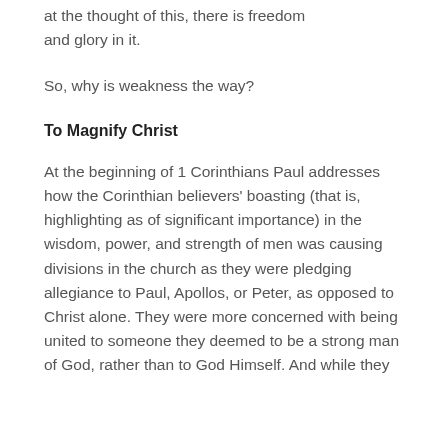at the thought of this, there is freedom and glory in it.
So, why is weakness the way?
To Magnify Christ
At the beginning of 1 Corinthians Paul addresses how the Corinthian believers' boasting (that is, highlighting as of significant importance) in the wisdom, power, and strength of men was causing divisions in the church as they were pledging allegiance to Paul, Apollos, or Peter, as opposed to Christ alone. They were more concerned with being united to someone they deemed to be a strong man of God, rather than to God Himself. And while they